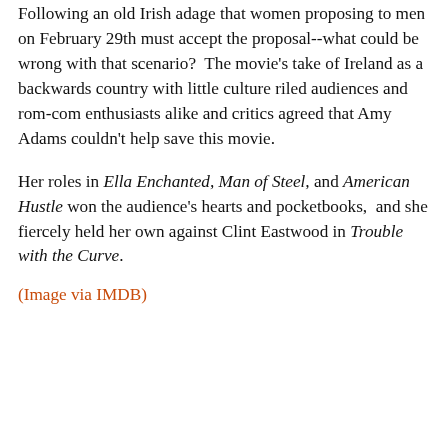Following an old Irish adage that women proposing to men on February 29th must accept the proposal--what could be wrong with that scenario?  The movie's take of Ireland as a backwards country with little culture riled audiences and rom-com enthusiasts alike and critics agreed that Amy Adams couldn't help save this movie.
Her roles in Ella Enchanted, Man of Steel, and American Hustle won the audience's hearts and pocketbooks,  and she fiercely held her own against Clint Eastwood in Trouble with the Curve.
(Image via IMDB)